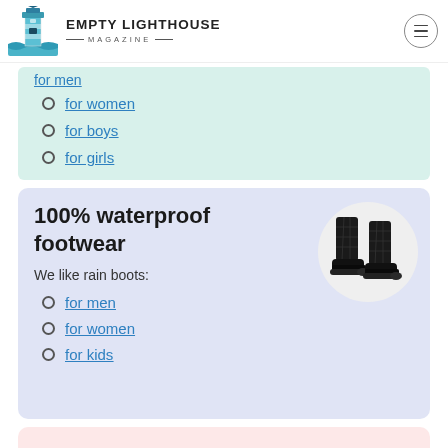EMPTY LIGHTHOUSE MAGAZINE
for women
for boys
for girls
100% waterproof footwear
[Figure (photo): Black quilted rain boots on white circular background]
We like rain boots:
for men
for women
for kids